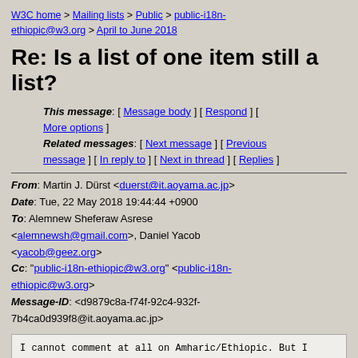W3C home > Mailing lists > Public > public-i18n-ethiopic@w3.org > April to June 2018
Re: Is a list of one item still a list?
This message: [ Message body ] [ Respond ] [ More options ] Related messages: [ Next message ] [ Previous message ] [ In reply to ] [ Next in thread ] [ Replies ]
From: Martin J. Dürst <duerst@it.aoyama.ac.jp>
Date: Tue, 22 May 2018 19:44:44 +0900
To: Alemnew Sheferaw Asrese <alemnewsh@gmail.com>, Daniel Yacob <yacob@geez.org>
Cc: "public-i18n-ethiopic@w3.org" <public-i18n-ethiopic@w3.org>
Message-ID: <d9879c8a-f74f-92c4-932f-7b4ca0d939f8@it.aoyama.ac.jp>
I cannot comment at all on Amharic/Ethiopic. But I think most people can
agree that a list with just one item isn't much of